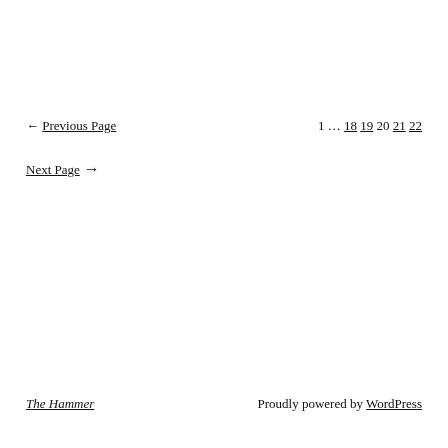← Previous Page    1 … 18 19 20 21 22
Next Page →
The Hammer    Proudly powered by WordPress